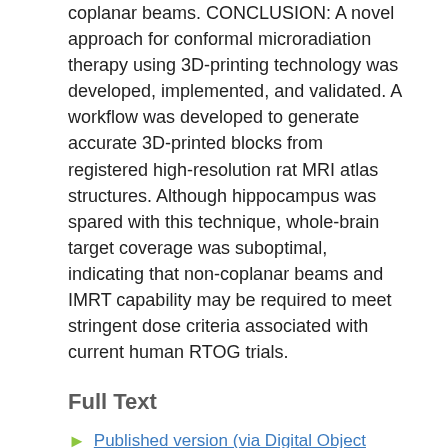coplanar beams. CONCLUSION: A novel approach for conformal microradiation therapy using 3D-printing technology was developed, implemented, and validated. A workflow was developed to generate accurate 3D-printed blocks from registered high-resolution rat MRI atlas structures. Although hippocampus was spared with this technique, whole-brain target coverage was suboptimal, indicating that non-coplanar beams and IMRT capability may be required to meet stringent dose criteria associated with current human RTOG trials.
Full Text
Published version (via Digital Object Identifier)
Pubmed Central version
Link to Item